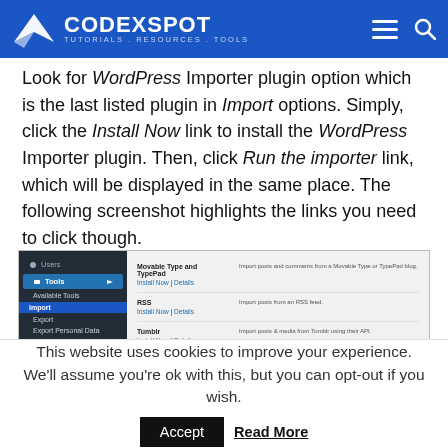[Figure (logo): Codexspot logo with white wing/arrow icon and text 'CODEXSPOT TUTORIALS. RESOURCES. TOOLS' on blue background, with hamburger menu and search icons on the right]
Look for WordPress Importer plugin option which is the last listed plugin in Import options. Simply, click the Install Now link to install the WordPress Importer plugin. Then, click Run the importer link, which will be displayed in the same place. The following screenshot highlights the links you need to click though.
[Figure (screenshot): WordPress admin dashboard showing Tools > Import screen with plugins: Movable Type and TypePad, RSS, Tumblr, and WordPress with Install Now | Details links. The WordPress entry has Install Now highlighted in blue button style.]
This website uses cookies to improve your experience. We'll assume you're ok with this, but you can opt-out if you wish.
Accept   Read More